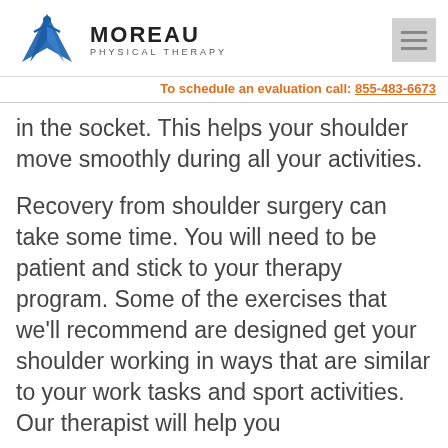Moreau Physical Therapy — To schedule an evaluation call: 855-483-6673
in the socket. This helps your shoulder move smoothly during all your activities.
Recovery from shoulder surgery can take some time. You will need to be patient and stick to your therapy program. Some of the exercises that we'll recommend are designed get your shoulder working in ways that are similar to your work tasks and sport activities. Our therapist will help you